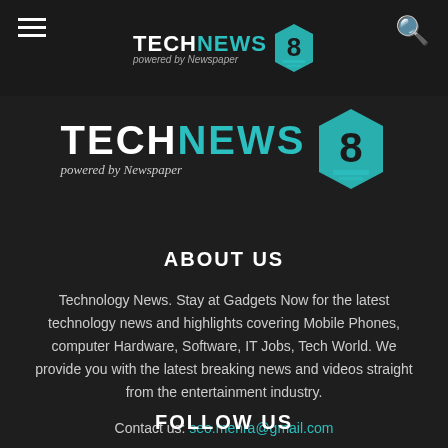TECHNEWS 8 — powered by Newspaper (header logo)
[Figure (logo): Large TECHNEWS 8 logo with teal accent and 'powered by Newspaper' italic subtitle]
ABOUT US
Technology News. Stay at Gadgets Now for the latest technology news and highlights covering Mobile Phones, computer Hardware, Software, IT Jobs, Tech World. We provide you with the latest breaking news and videos straight from the entertainment industry.
Contact us: seo.mehra@gmail.com
FOLLOW US